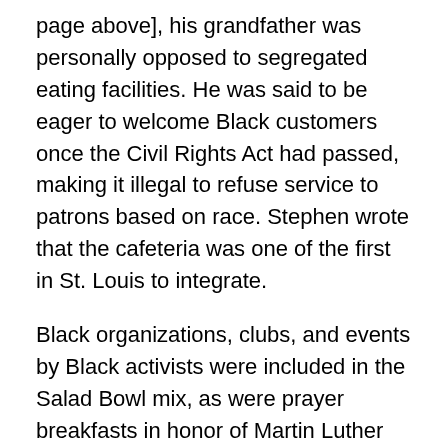page above], his grandfather was personally opposed to segregated eating facilities. He was said to be eager to welcome Black customers once the Civil Rights Act had passed, making it illegal to refuse service to patrons based on race. Stephen wrote that the cafeteria was one of the first in St. Louis to integrate.
Black organizations, clubs, and events by Black activists were included in the Salad Bowl mix, as were prayer breakfasts in honor of Martin Luther King. Another example was a news conference held by well known activist Ivory Perry who denounced President Ronald Reagan's introduction of housing vouchers in 1982, calling it a step in federal abandonment of public housing and urging people to join a protest rally in Washington. A St. Louis section of the National Council of Negro Women held its 5th annual awards dinner there in 1986.